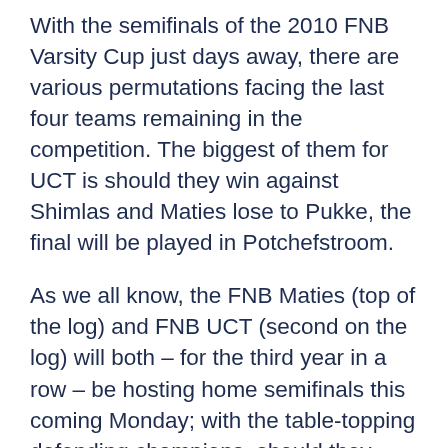With the semifinals of the 2010 FNB Varsity Cup just days away, there are various permutations facing the last four teams remaining in the competition. The biggest of them for UCT is should they win against Shimlas and Maties lose to Pukke, the final will be played in Potchefstroom.
As we all know, the FNB Maties (top of the log) and FNB UCT (second on the log) will both – for the third year in a row – be hosting home semifinals this coming Monday; with the table-topping defending champions, should they beat Pukke, set to host a third successive final.